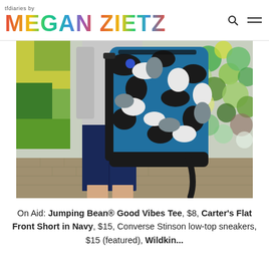tfdiaries by MEGAN ZIETZ
[Figure (photo): A child wearing a grey tee, navy shorts, and carrying a blue/black/white camouflage patterned backpack, photographed from torso down on a brick sidewalk in front of a colorful mural wall.]
On Aid: Jumping Bean® Good Vibes Tee, $8, Carter's Flat Front Short in Navy, $15, Converse Stinson low-top sneakers, $15 (featured), Wildkin…